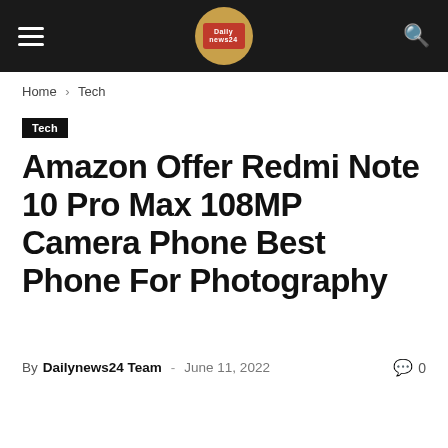Dailynews24 — hamburger menu, logo, search icon
Home › Tech
Tech
Amazon Offer Redmi Note 10 Pro Max 108MP Camera Phone Best Phone For Photography
By Dailynews24 Team - June 11, 2022 · 0 comments